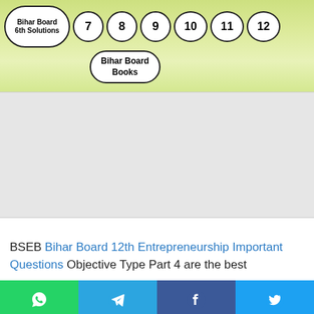[Figure (other): Navigation bar with pill-shaped buttons: Bihar Board 6th Solutions, 7, 8, 9, 10, 11, 12, and Bihar Board Books]
[Figure (other): Gray advertisement placeholder area]
BSEB Bihar Board 12th Entrepreneurship Important Questions Objective Type Part 4 are the best
[Figure (other): Social share buttons: WhatsApp (green), Telegram (blue), Facebook (dark blue), Twitter (light blue)]